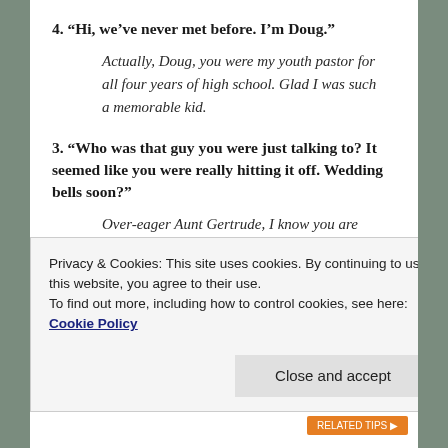4. “Hi, we’ve never met before. I’m Doug.”
Actually, Doug, you were my youth pastor for all four years of high school. Glad I was such a memorable kid.
3. “Who was that guy you were just talking to? It seemed like you were really hitting it off. Wedding bells soon?”
Over-eager Aunt Gertrude, I know you are desperate to see me married off. And I appreciate your enthusiasm. Actually I don’t. The single men here are all barely out of college. Please stop asking me
Privacy & Cookies: This site uses cookies. By continuing to use this website, you agree to their use.
To find out more, including how to control cookies, see here: Cookie Policy